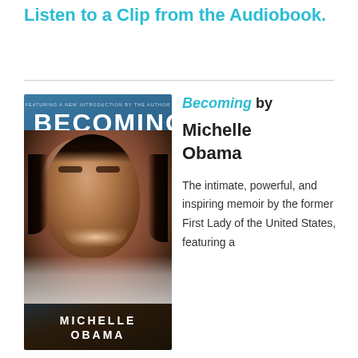Listen to a Clip from the Audiobook.
[Figure (photo): Book cover of 'Becoming' by Michelle Obama featuring a photo of Michelle Obama smiling, with text 'FEATURING A NEW INTRODUCTION BY THE AUTHOR', 'BECOMING', and 'MICHELLE OBAMA']
Becoming by Michelle Obama
The intimate, powerful, and inspiring memoir by the former First Lady of the United States, featuring a